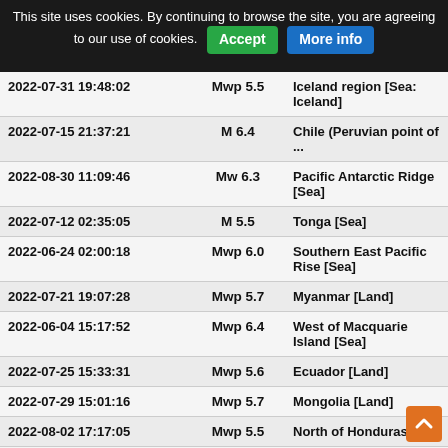This site uses cookies. By continuing to browse the site, you are agreeing to our use of cookies. [Accept] [More info]
| Date/Time | Magnitude | Location |
| --- | --- | --- |
| 2022-07-31 19:48:02 | Mwp 5.5 | Iceland region [Sea: Iceland] |
| 2022-07-15 21:37:21 | M 6.4 | Chile (Peruvian point of ... |
| 2022-08-30 11:09:46 | Mw 6.3 | Pacific Antarctic Ridge [Sea] |
| 2022-07-12 02:35:05 | M 5.5 | Tonga [Sea] |
| 2022-06-24 02:00:18 | Mwp 6.0 | Southern East Pacific Rise [Sea] |
| 2022-07-21 19:07:28 | Mwp 5.7 | Myanmar [Land] |
| 2022-06-04 15:17:52 | Mwp 6.4 | West of Macquarie Island [Sea] |
| 2022-07-25 15:33:31 | Mwp 5.6 | Ecuador [Land] |
| 2022-07-29 15:01:16 | Mwp 5.7 | Mongolia [Land] |
| 2022-08-02 17:17:05 | Mwp 5.5 | North of Honduras [Sea] |
| 2022-07-29 18:39:18 | Mwp 5.6 | Conflict zone Japan/Russia |